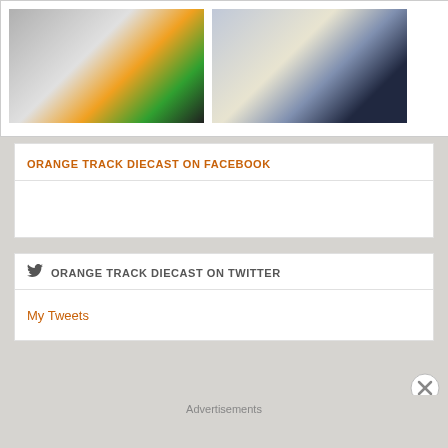[Figure (photo): Two diecast toy car photos side by side. Left: black race car on orange surface. Right: hand holding a diecast car in blister packaging.]
ORANGE TRACK DIECAST ON FACEBOOK
ORANGE TRACK DIECAST ON TWITTER
My Tweets
Advertisements